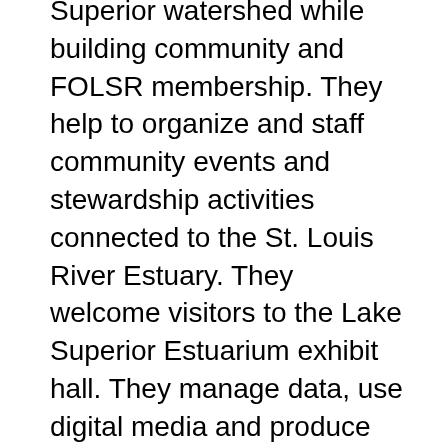Superior watershed while building community and FOLSR membership. They help to organize and staff community events and stewardship activities connected to the St. Louis River Estuary. They welcome visitors to the Lake Superior Estuarium exhibit hall. They manage data, use digital media and produce newsletters and videos to bring the St. Louis River Estuary, FOLSR and the Reserve to broader audiences. This AmeriCorps position works to enhance the well-being and physical health in the City of Superior and Lake Superior region by building stewardship opportunities and stronger connections to the outdoors in partnership with FOLSR and the Reserve, both located on Barkers Island in Superior, Wisconsin.
Required Skills and Experience: Demonstrated